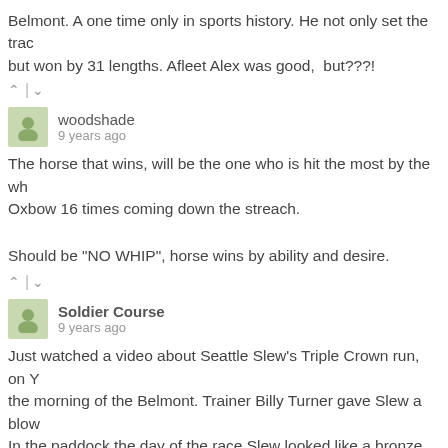Belmont. A one time only in sports history. He not only set the trac but won by 31 lengths. Afleet Alex was good,  but???!
^ | v
woodshade
9 years ago
The horse that wins, will be the one who is hit the most by the wh Oxbow 16 times coming down the streach.
Should be "NO WHIP", horse wins by ability and desire.
^ | v
Soldier Course
9 years ago
Just watched a video about Seattle Slew's Triple Crown run, on Y the morning of the Belmont. Trainer Billy Turner gave Slew a blow In the paddock the day of the race Slew looked like a bronze god. this again?